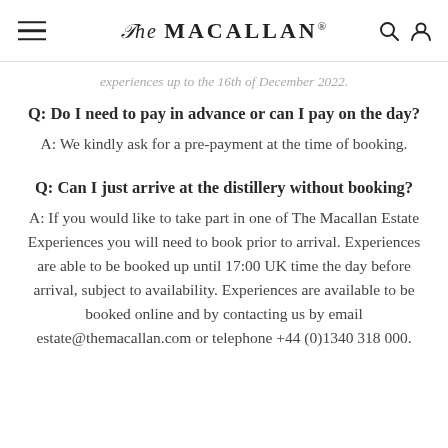The Macallan®
experiences up to the 16th of December 2022.
Q: Do I need to pay in advance or can I pay on the day?
A: We kindly ask for a pre-payment at the time of booking.
Q: Can I just arrive at the distillery without booking?
A: If you would like to take part in one of The Macallan Estate Experiences you will need to book prior to arrival. Experiences are able to be booked up until 17:00 UK time the day before arrival, subject to availability. Experiences are available to be booked online and by contacting us by email estate@themacallan.com or telephone +44 (0)1340 318 000.